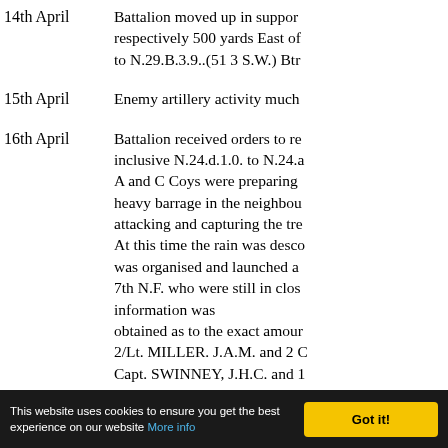14th April — Battalion moved up in support respectively 500 yards East of to N.29.B.3.9..(51 3 S.W.) Btn
15th April — Enemy artillery activity much
16th April — Battalion received orders to re inclusive N.24.d.1.0. to N.24.a A and C Coys were preparing heavy barrage in the neighbou attacking and capturing the tre At this time the rain was desc was organised and launched a 7th N.F. who were still in clos information was obtained as to the exact amou 2/Lt. MILLER. J.A.M. and 2 C Capt. SWINNEY, J.H.C. and 1
17th April — The Battalion attacked and rec carried out the actual assault a assembly. the bank at N.24.c.4